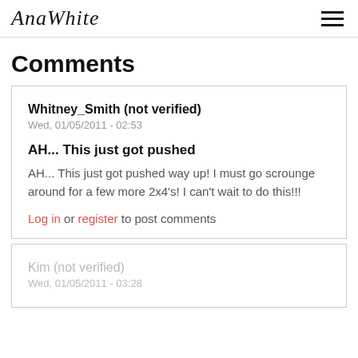AnaWhite
Comments
Whitney_Smith (not verified)
Wed, 01/05/2011 - 02:53

AH... This just got pushed

AH... This just got pushed way up! I must go scrounge around for a few more 2x4's! I can't wait to do this!!!

Log in or register to post comments
Kim (not verified)
Wed, 01/05/2011 - 03:28